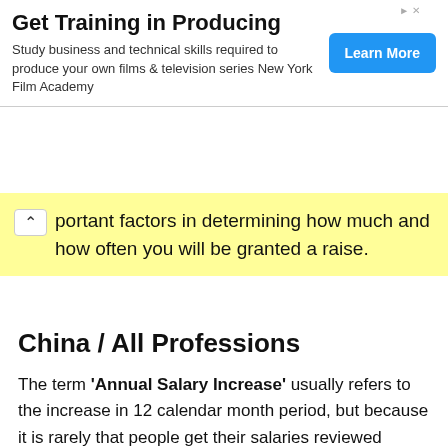[Figure (other): Advertisement banner: 'Get Training in Producing' with Learn More button for New York Film Academy]
portant factors in determining how much and how often you will be granted a raise.
China / All Professions
The term 'Annual Salary Increase' usually refers to the increase in 12 calendar month period, but because it is rarely that people get their salaries reviewed exactly on the one year mark, it is more meaningful to know the frequency and the rate at the time of the increase.
How to calculate the salary increment percentage?
The annual salary Increase in a calendar year (12